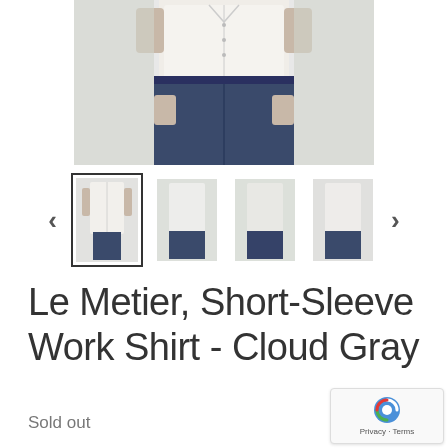[Figure (photo): Main product photo showing a man wearing a white/light gray short-sleeve button-up shirt with dark blue jeans, cropped to show torso only]
[Figure (photo): Thumbnail gallery with 4 product photos of a man wearing the shirt from various angles, with left and right navigation arrows]
Le Metier, Short-Sleeve Work Shirt - Cloud Gray
Sold out